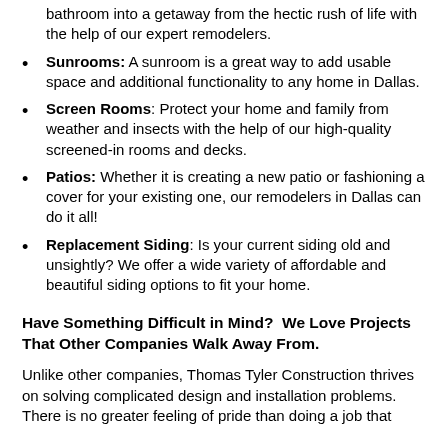bathroom into a getaway from the hectic rush of life with the help of our expert remodelers.
Sunrooms: A sunroom is a great way to add usable space and additional functionality to any home in Dallas.
Screen Rooms: Protect your home and family from weather and insects with the help of our high-quality screened-in rooms and decks.
Patios: Whether it is creating a new patio or fashioning a cover for your existing one, our remodelers in Dallas can do it all!
Replacement Siding: Is your current siding old and unsightly? We offer a wide variety of affordable and beautiful siding options to fit your home.
Have Something Difficult in Mind?  We Love Projects That Other Companies Walk Away From.
Unlike other companies, Thomas Tyler Construction thrives on solving complicated design and installation problems. There is no greater feeling of pride than doing a job that